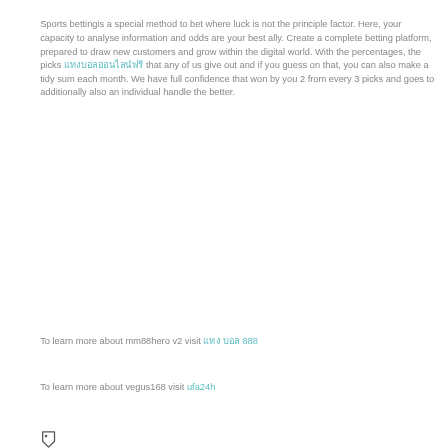Sports bettingis a special method to bet where luck is not the principle factor. Here, your capacity to analyse information and odds are your best ally. Create a complete betting platform, prepared to draw new customers and grow within the digital world. With the percentages, the picks [Thai text link] that any of us give out and if you guess on that, you can also make a tidy sum each month. We have full confidence that won by you 2 from every 3 picks and goes to additionally also an individual handle the better.
To learn more about mm88hero v2 visit แทง บอล 888
To learn more about vegus168 visit ufa24h
[Figure (other): Small tag/label icon (price tag shape) in dark gray]